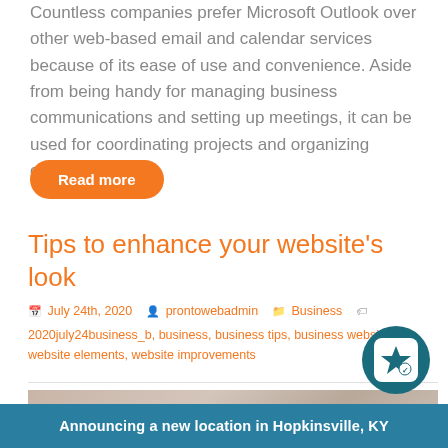Countless companies prefer Microsoft Outlook over other web-based email and calendar services because of its ease of use and convenience. Aside from being handy for managing business communications and setting up meetings, it can be used for coordinating projects and organizing contacts as well.
Read more
Tips to enhance your website’s look
July 24th, 2020  prontowebadmin  Business  2020july24business_b, business, business tips, business website, website elements, website improvements
[Figure (photo): Partial view of a person working, possibly writing or using a device, with warm tones]
Announcing a new location in Hopkinsville, KY